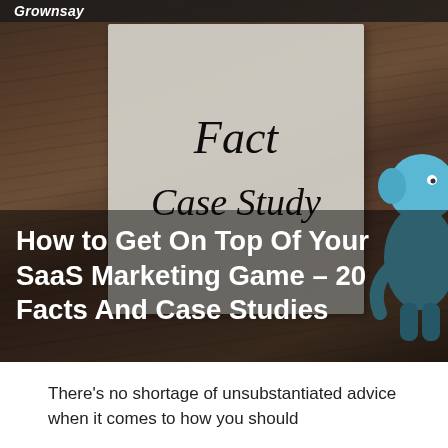Grownsay
[Figure (photo): A photo of an open book on a wooden table showing 'Fact Case Study' in italic serif font, with a blue cartoon elephant figure partially visible on the right side. A dark overlay at the bottom overlays the image.]
How to Get On Top Of Your SaaS Marketing Game – 20 Facts And Case Studies
There's no shortage of unsubstantiated advice when it comes to how you should